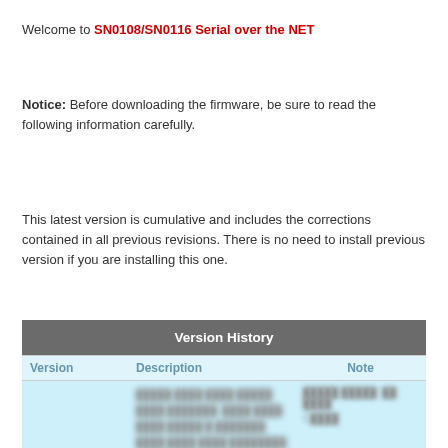Welcome to SN0108/SN0116 Serial over the NET
Notice: Before downloading the firmware, be sure to read the following information carefully.
This latest version is cumulative and includes the corrections contained in all previous revisions. There is no need to install previous version if you are installing this one.
| Version | Description | Note |
| --- | --- | --- |
| [redacted] | [redacted text with ATEN reference] | [redacted] |